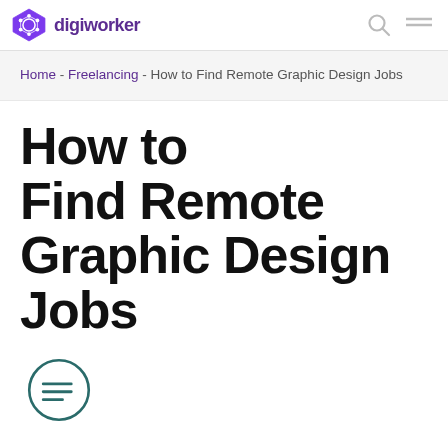digiworker
Home - Freelancing - How to Find Remote Graphic Design Jobs
How to Find Remote Graphic Design Jobs
[Figure (illustration): Circular table of contents icon with three horizontal lines inside a dark teal circle outline]